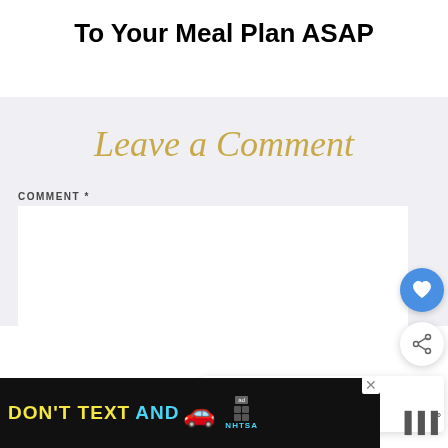To Your Meal Plan ASAP
Leave a Comment
COMMENT *
[Figure (screenshot): Comment input text area (white box)]
[Figure (infographic): Floating heart/like button (blue circle with heart icon) and share button (white circle with share icon)]
[Figure (infographic): What's Next panel showing link to 'Seattle Like a Local // Pike...' with thumbnail image]
[Figure (infographic): DON'T TEXT AND [car emoji] advertisement banner with NHTSA logo and close button]